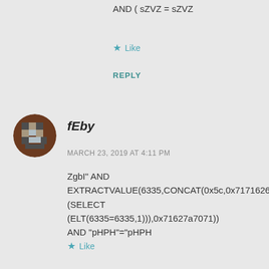AND ( sZVZ = sZVZ
Like
REPLY
fEby
MARCH 23, 2019 AT 4:11 PM
ZgbI" AND EXTRACTVALUE(6335,CONCAT(0x5c,0x7171626a7 (SELECT (ELT(6335=6335,1))),0x71627a7071)) AND "pHPH"="pHPH
Like